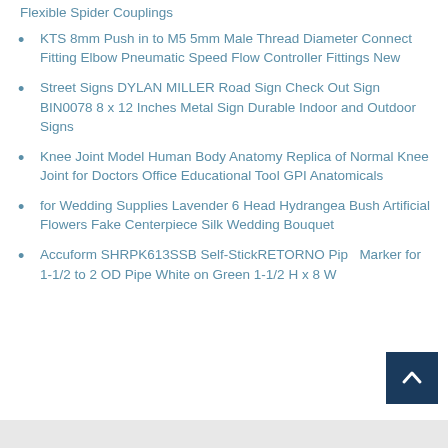Flexible Spider Couplings
KTS 8mm Push in to M5 5mm Male Thread Diameter Connect Fitting Elbow Pneumatic Speed Flow Controller Fittings New
Street Signs DYLAN MILLER Road Sign Check Out Sign BIN0078 8 x 12 Inches Metal Sign Durable Indoor and Outdoor Signs
Knee Joint Model Human Body Anatomy Replica of Normal Knee Joint for Doctors Office Educational Tool GPI Anatomicals
for Wedding Supplies Lavender 6 Head Hydrangea Bush Artificial Flowers Fake Centerpiece Silk Wedding Bouquet
Accuform SHRPK613SSB Self-StickRETORNO Pipe Marker for 1-1/2 to 2 OD Pipe White on Green 1-1/2 H x 8 W